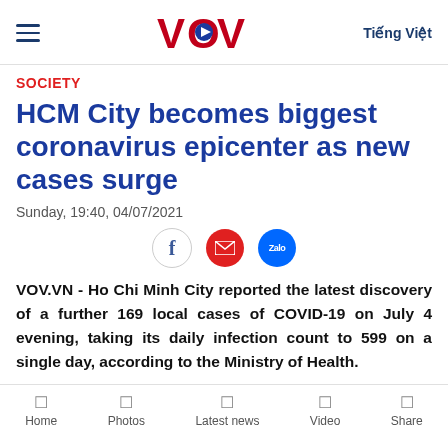VOV — Voice of Vietnam. Navigation: hamburger menu, VOV logo, Tiếng Việt
SOCIETY
HCM City becomes biggest coronavirus epicenter as new cases surge
Sunday, 19:40, 04/07/2021
[Figure (infographic): Social sharing icons: Facebook (f), Email (envelope in red circle), Zalo (blue chat bubble)]
VOV.VN - Ho Chi Minh City reported the latest discovery of a further 169 local cases of COVID-19 on July 4 evening, taking its daily infection count to 599 on a single day, according to the Ministry of Health.
Home | Photos | Latest news | Video | Share